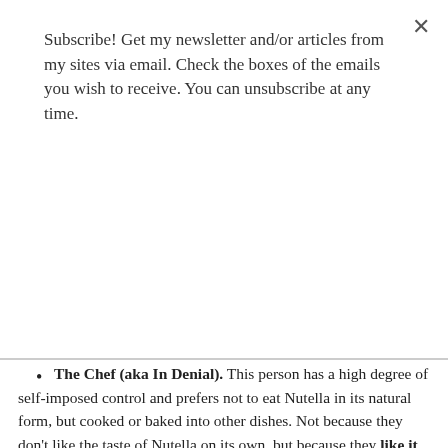Subscribe! Get my newsletter and/or articles from my sites via email. Check the boxes of the emails you wish to receive. You can unsubscribe at any time.
Subscribe
The Chef (aka In Denial). This person has a high degree of self-imposed control and prefers not to eat Nutella in its natural form, but cooked or baked into other dishes. Not because they don't like the taste of Nutella on its own, but because they like it too much and are afraid of themselves in the Spooner or Naturalist forms.
Which Nutella Lover are you?
Now are you ready to break the seal? Now that you know how to eat it, here's what you can eat it with! Check our Nutella